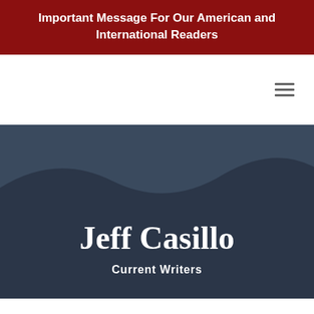Important Message For Our American and International Readers
[Figure (screenshot): Hamburger menu icon (three horizontal lines)]
Jeff Casillo
Current Writers